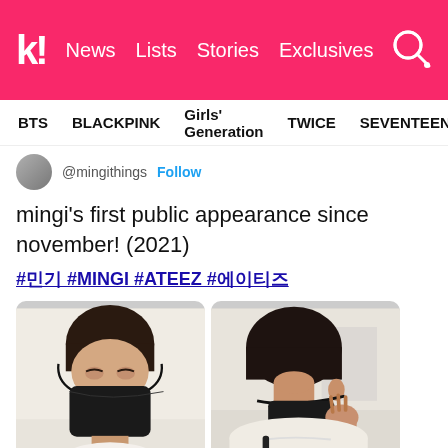k! News Lists Stories Exclusives
BTS  BLACKPINK  Girls' Generation  TWICE  SEVENTEEN
@mingithings Follow
mingi's first public appearance since november! (2021)
#민기 #MINGI #ATEEZ #에이티즈
[Figure (photo): Two photos of Mingi from ATEEZ wearing black face masks and white hoodies at an airport. Left photo shows him facing the camera, right photo shows him from behind/side.]